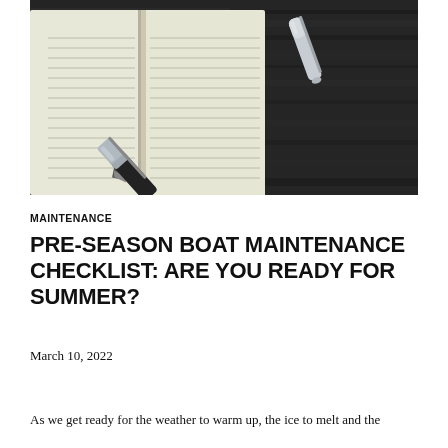[Figure (photo): Open lined notebook with a fountain pen resting on the pages, placed on a dark wooden surface. A second pen is visible in the upper right background.]
MAINTENANCE
PRE-SEASON BOAT MAINTENANCE CHECKLIST: ARE YOU READY FOR SUMMER?
March 10, 2022
As we get ready for the weather to warm up, the ice to melt and the